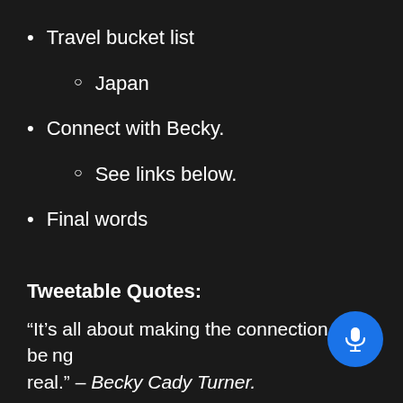Travel bucket list
Japan
Connect with Becky.
See links below.
Final words
Tweetable Quotes:
“It’s all about making the connection and be… real.” – Becky Cady Turner.